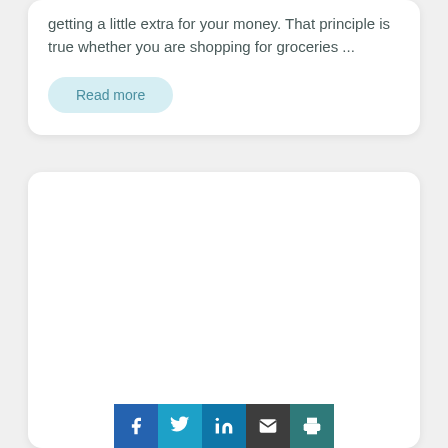getting a little extra for your money. That principle is true whether you are shopping for groceries ...
Read more
[Figure (other): Empty white card panel with social sharing buttons at the bottom including Facebook, Twitter, LinkedIn, Email, and Print icons]